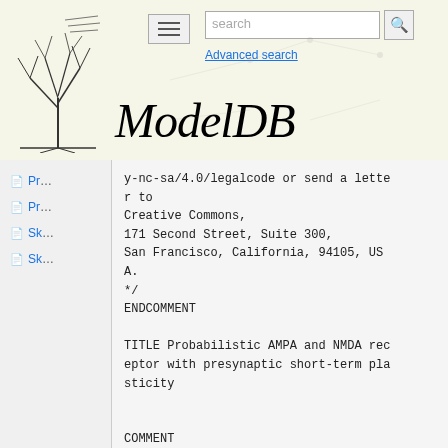[Figure (logo): ModelDB website header with tree logo, hamburger menu, search bar, Advanced search link, and ModelDB italic title]
Pr...
Pr...
Sk...
Sk...
y-nc-sa/4.0/legalcode or send a letter to
Creative Commons,
171 Second Street, Suite 300,
San Francisco, California, 94105, USA.
*/
ENDCOMMENT

TITLE Probabilistic AMPA and NMDA receptor with presynaptic short-term plasticity


COMMENT
AMPA and NMDA receptor conductance using a dual-exponential profile presynaptic short-term plasticity as in Fuhrmann et al. 2002